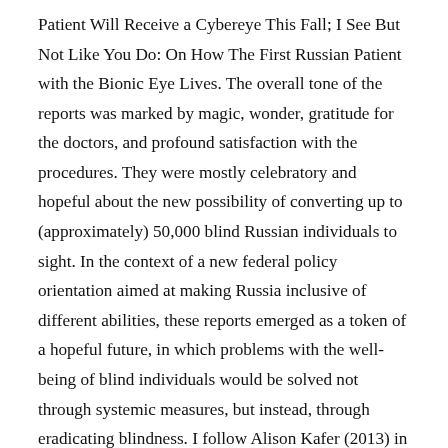Patient Will Receive a Cybereye This Fall; I See But Not Like You Do: On How The First Russian Patient with the Bionic Eye Lives. The overall tone of the reports was marked by magic, wonder, gratitude for the doctors, and profound satisfaction with the procedures. They were mostly celebratory and hopeful about the new possibility of converting up to (approximately) 50,000 blind Russian individuals to sight. In the context of a new federal policy orientation aimed at making Russia inclusive of different abilities, these reports emerged as a token of a hopeful future, in which problems with the well-being of blind individuals would be solved not through systemic measures, but instead, through eradicating blindness. I follow Alison Kafer (2013) in understanding this fantasy of desired technological enhancement as part of the normative curative public imagination. (read more…)